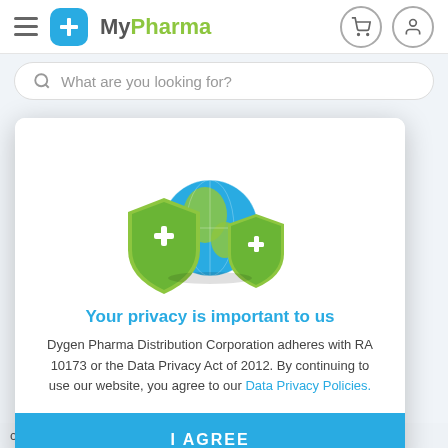[Figure (logo): MyPharma logo with blue cross icon and hamburger menu, plus cart and user icons on right]
What are you looking for?
[Figure (illustration): Globe with two green medical shield icons on either side]
Your privacy is important to us
Dygen Pharma Distribution Corporation adheres with RA 10173 or the Data Privacy Act of 2012. By continuing to use our website, you agree to our Data Privacy Policies.
I AGREE
der using is
Relief A.I. is soothe dry, t brings -lasting he applied also strengthen It is also
compatible with dry, irritated, and sensitive skin